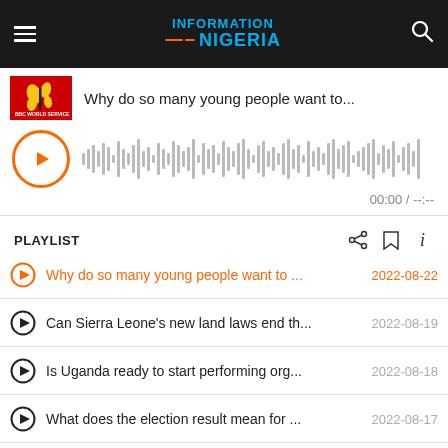Information Nigeria
[Figure (screenshot): BBC World Service podcast thumbnail - red background with yellow butterfly/plant icon]
Why do so many young people want to...
[Figure (other): Audio player with orange play button circle and grey waveform visualization. Time: 00:00 / --:--]
PLAYLIST
Why do so many young people want to ... 2022-08-22
Can Sierra Leone's new land laws end th... 2022-08-19
Is Uganda ready to start performing org... 2022-08-18
What does the election result mean for ... 2022-08-17
Can South Africa solve its Zama Zama is... 2022-08-16